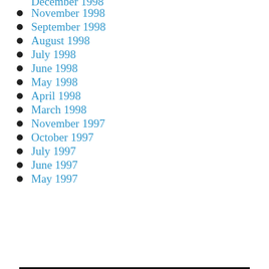November 1998
September 1998
August 1998
July 1998
June 1998
May 1998
April 1998
March 1998
November 1997
October 1997
July 1997
June 1997
May 1997